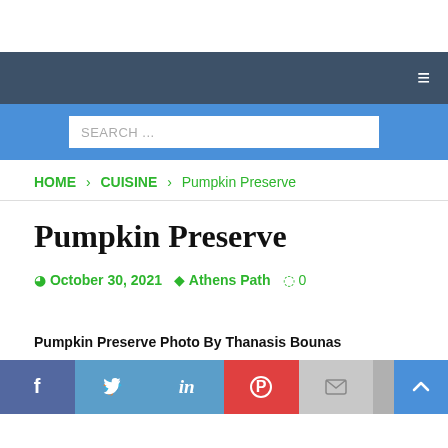Navigation bar with hamburger menu
SEARCH ...
HOME > CUISINE > Pumpkin Preserve
Pumpkin Preserve
October 30, 2021  Athens Path  0
Pumpkin Preserve Photo By Thanasis Bounas